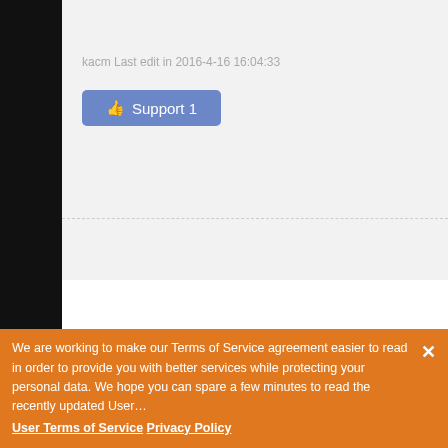kacm Last edit in 2016-4-16 16:04:33
👍 Support 1
IGN: EdenLim - United-41
Post time 2016-4-15 06:55:28 | Show the a
dark59
IGN:  Dark59
Server:  United-11
We are working to make our Terms of Service agreement easier to read in order to provide you with better services while protecting your personal data. We hope you can spare a few minutes to read the recently updated User… User Terms of Service  Privacy Policy